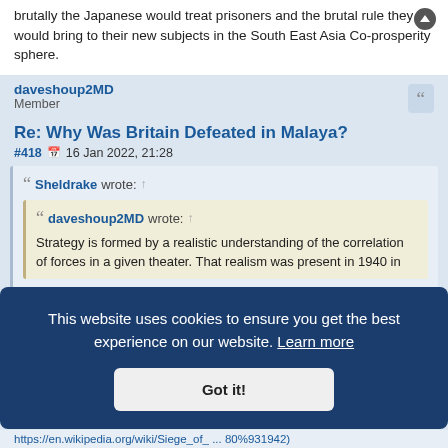brutally the Japanese would treat prisoners and the brutal rule they would bring to their new subjects in the South East Asia Co-prosperity sphere.
daveshoup2MD
Member
Re: Why Was Britain Defeated in Malaya?
#418 16 Jan 2022, 21:28
Sheldrake wrote: ↑
daveshoup2MD wrote: ↑
Strategy is formed by a realistic understanding of the correlation of forces in a given theater. That realism was present in 1940 in
This website uses cookies to ensure you get the best experience on our website. Learn more
Got it!
https://en.wikipedia.org/wiki/Siege_of_ ... 80%931942)